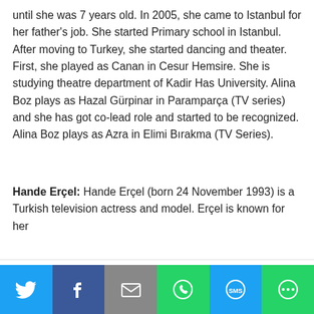until she was 7 years old. In 2005, she came to Istanbul for her father's job. She started Primary school in Istanbul. After moving to Turkey, she started dancing and theater. First, she played as Canan in Cesur Hemsire. She is studying theatre department of Kadir Has University. Alina Boz plays as Hazal Gürpinar in Paramparça (TV series) and she has got co-lead role and started to be recognized. Alina Boz plays as Azra in Elimi Bırakma (TV Series).
Hande Erçel: Hande Erçel (born 24 November 1993) is a Turkish television actress and model. Erçel is known for her [cut off]
We use cookies on our website to give you the most relevant experience by remembering your preferences and repeat visits. By clicking "Accept All", you consent to the use of ALL the cookies. However, you may visit "Cookie Settings" to provide a controlled consent.
[Figure (infographic): Social media share bar with Twitter, Facebook, Email, WhatsApp, SMS, and More buttons]